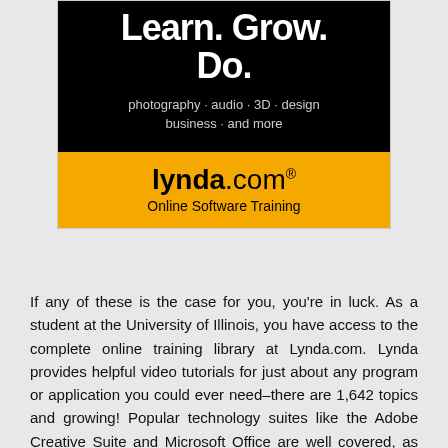[Figure (logo): Lynda.com advertisement banner with black background showing 'Learn. Grow. Do.' headline text, 'photography · audio · 3D · design business · and more' subtext, and yellow footer with 'lynda.com® Online Software Training']
If any of these is the case for you, you're in luck. As a student at the University of Illinois, you have access to the complete online training library at Lynda.com. Lynda provides helpful video tutorials for just about any program or application you could ever need–there are 1,642 topics and growing! Popular technology suites like the Adobe Creative Suite and Microsoft Office are well covered, as well as several programming languages, video and audio editing tools, and even a subsection for useful business skills. If you need to learn how to use a program as part of one of your courses, chances are you can find a tutorial